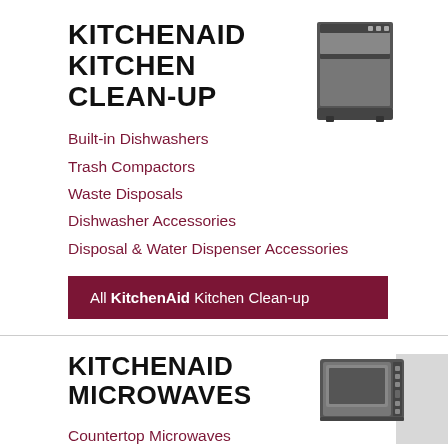KITCHENAID KITCHEN CLEAN-UP
[Figure (illustration): Gray dishwasher appliance icon]
Built-in Dishwashers
Trash Compactors
Waste Disposals
Dishwasher Accessories
Disposal & Water Dispenser Accessories
All KitchenAid Kitchen Clean-up
KITCHENAID MICROWAVES
[Figure (illustration): Gray microwave appliance icon]
Countertop Microwaves
Over-the-Range Microwaves
Built-in Microwaves